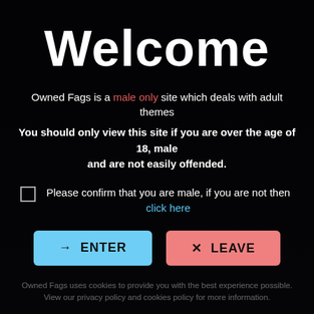Welcome
Owned Fags is a male only site which deals with adult themes
You should only view this site if you are over the age of 18, male and are not easily offended.
Please confirm that you are male, if you are not then click here
[Figure (screenshot): Two buttons: ENTER (light blue) and LEAVE (light red/pink)]
Owned Fags uses cookies to provide you with the best experience possible. View our privacy policy and cookies policy for more information.